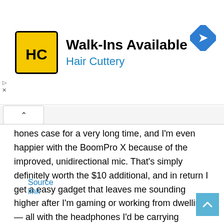[Figure (logo): Hair Cuttery advertisement banner with HC logo, 'Walk-Ins Available' headline, blue 'Hair Cuttery' subtitle, and a blue diamond navigation icon]
hones case for a very long time, and I'm even happier with the BoomPro X because of the improved, unidirectional mic. That's simply definitely worth the $10 additional, and in return I get a easy gadget that leaves me sounding higher after I'm gaming or working from dwelling — all with the headphones I'd be carrying anyway.
Pictures by Chris Welch / The Verge
Source link